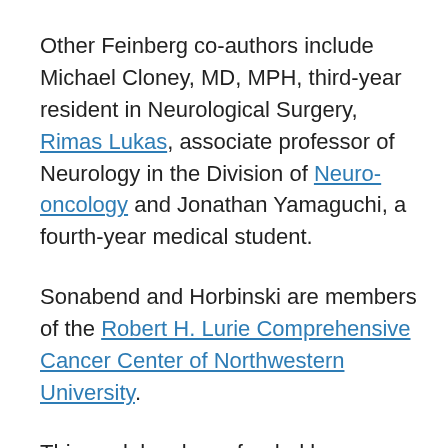Other Feinberg co-authors include Michael Cloney, MD, MPH, third-year resident in Neurological Surgery, Rimas Lukas, associate professor of Neurology in the Division of Neuro-oncology and Jonathan Yamaguchi, a fourth-year medical student.
Sonabend and Horbinski are members of the Robert H. Lurie Comprehensive Cancer Center of Northwestern University.
This work has been funded by National Institutes of Health grants R01 CA185486, R01 CA179044, U54 CA193313, U54 209997 and R01 NS103473; NSF/SU2C/V-Foundation Ideas Lab Multidisciplinary